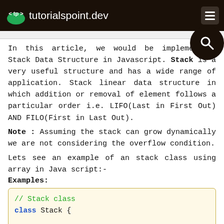tutorialspoint.dev
In this article, we would be implementing Stack Data Structure in Javascript. Stack is a very useful structure and has a wide range of application. Stack linear data structure in which addition or removal of element follows a particular order i.e. LIFO(Last in First Out) AND FILO(First in Last Out).
Note : Assuming the stack can grow dynamically we are not considering the overflow condition.
Lets see an example of an stack class using array in Java script:-
Examples:
// Stack class
class Stack {

    // Array is used to implement stack
    constructor()
    {